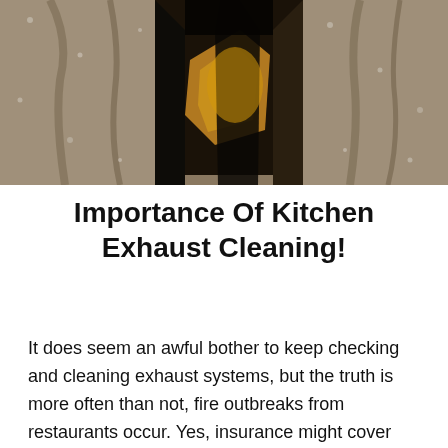[Figure (photo): Close-up photo of a dirty, grease-covered kitchen exhaust duct or vent opening, showing heavy black grease buildup and dark brown discoloration on metallic surfaces]
Importance Of Kitchen Exhaust Cleaning!
It does seem an awful bother to keep checking and cleaning exhaust systems, but the truth is more often than not, fire outbreaks from restaurants occur. Yes, insurance might cover the cost of the burning building, but